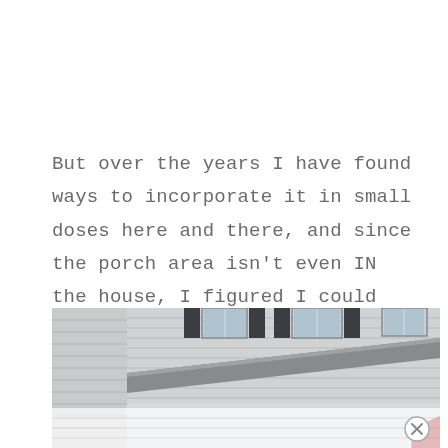But over the years I have found ways to incorporate it in small doses here and there, and since the porch area isn't even IN the house, I figured I could get away with the pink out here.
[Figure (photo): Exterior photo of a house showing grey siding, dark shutters, windows, and a roofline with gutters. The lower portion is a faded/washed-out reflection.]